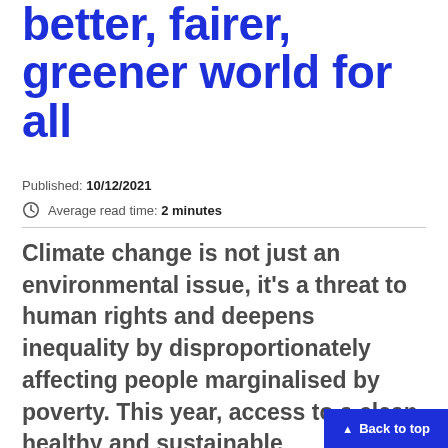Working towards a better, fairer, greener world for all
Published: 10/12/2021
Average read time: 2 minutes
Climate change is not just an environmental issue, it's a threat to human rights and deepens inequality by disproportionately affecting people marginalised by poverty. This year, access to a clean, healthy and sustainable environment was recognised as a fundamental human right.